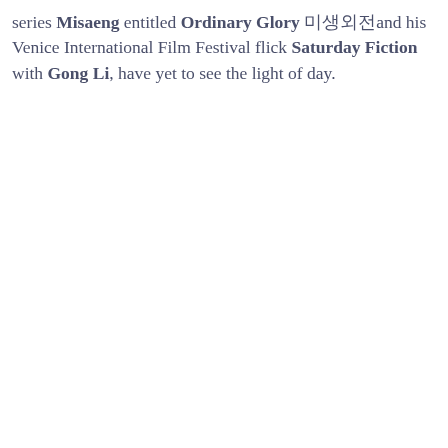series Misaeng entitled Ordinary Glory 미생외전and his Venice International Film Festival flick Saturday Fiction with Gong Li, have yet to see the light of day.